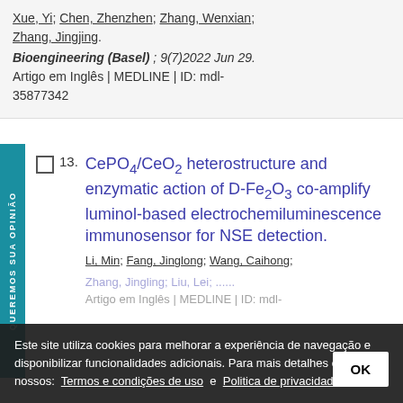Xue, Yi; Chen, Zhenzhen; Zhang, Wenxian; Zhang, Jingjing. Bioengineering (Basel); 9(7)2022 Jun 29. Artigo em Inglês | MEDLINE | ID: mdl-35877342
13. CePO4/CeO2 heterostructure and enzymatic action of D-Fe2O3 co-amplify luminol-based electrochemiluminescence immunosensor for NSE detection. Li, Min; Fang, Jinglong; Wang, Caihong; Zhang, Jingling; Liu, Lei; ... Artigo em Inglês | MEDLINE | ID: mdl-...
Este site utiliza cookies para melhorar a experiência de navegação e disponibilizar funcionalidades adicionais. Para mais detalhes consulte nossos: Termos e condições de uso e Politica de privacidade